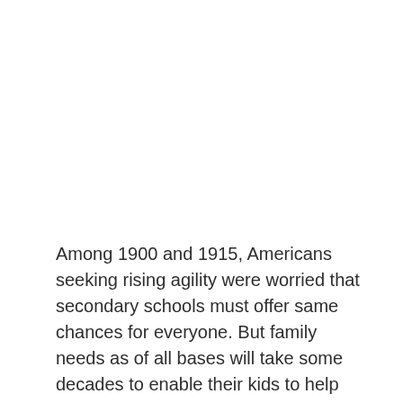Among 1900 and 1915, Americans seeking rising agility were worried that secondary schools must offer same chances for everyone. But family needs as of all bases will take some decades to enable their kids to help from these chances. In the start of the 20th century, primary- and secondary schools for 8, and 4 years started to